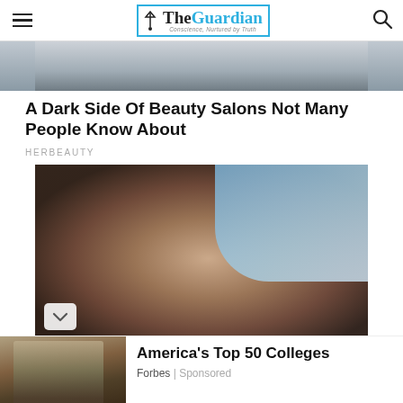The Guardian — Conscience, Nurtured by Truth
[Figure (photo): Top partial image, cropped photo of a person in a car, mostly cut off at the top]
A Dark Side Of Beauty Salons Not Many People Know About
HERBEAUTY
[Figure (photo): Portrait photo of a dark-haired woman outdoors against a blue sky and stone wall background]
[Figure (photo): Advertisement image showing a university/college gothic stone building]
America's Top 50 Colleges
Forbes | Sponsored
Jubna